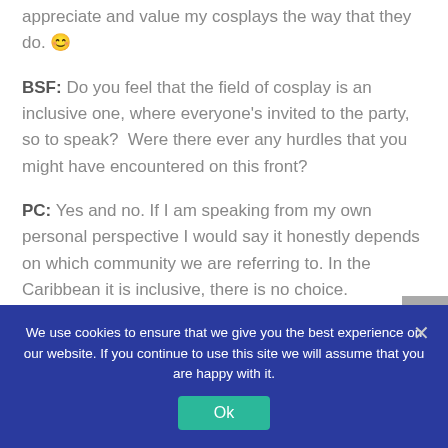appreciate and value my cosplays the way that they do. 😊
BSF: Do you feel that the field of cosplay is an inclusive one, where everyone's invited to the party, so to speak?  Were there ever any hurdles that you might have encountered on this front?
PC: Yes and no. If I am speaking from my own personal perspective I would say it honestly depends on which community we are referring to. In the Caribbean it is inclusive, there is no choice.
We use cookies to ensure that we give you the best experience on our website. If you continue to use this site we will assume that you are happy with it.